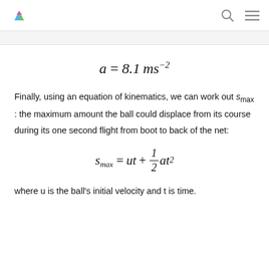[Logo] [Search icon] [Menu icon]
Finally, using an equation of kinematics, we can work out s_max : the maximum amount the ball could displace from its course during its one second flight from boot to back of the net:
where u is the ball's initial velocity and t is time.